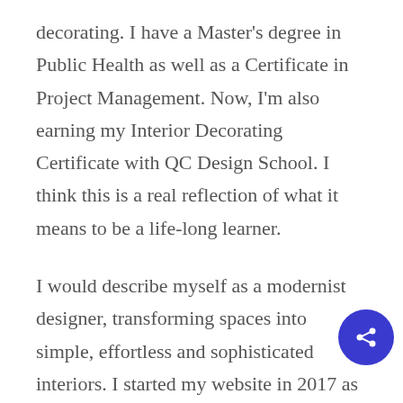decorating. I have a Master's degree in Public Health as well as a Certificate in Project Management. Now, I'm also earning my Interior Decorating Certificate with QC Design School. I think this is a real reflection of what it means to be a life-long learner.
I would describe myself as a modernist designer, transforming spaces into simple, effortless and sophisticated interiors. I started my website in 2017 as an interior decor blog. The focus was on sharing tips, tutorials, and inspiration for creative, small-space living. Seeing a trend for urban living and organized interiors, my expertise in small spaces started to take shape